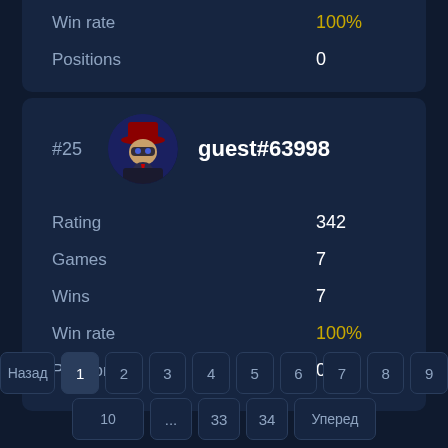| Stat | Value |
| --- | --- |
| Win rate | 100% |
| Positions | 0 |
[Figure (screenshot): User profile card showing rank #25, avatar of a spy/mafia character with red hat, username guest#63998, and stats: Rating 342, Games 7, Wins 7, Win rate 100%, Positions 0]
| Stat | Value |
| --- | --- |
| Rating | 342 |
| Games | 7 |
| Wins | 7 |
| Win rate | 100% |
| Positions | 0 |
Назад 1 2 3 4 5 6 7 8 9
10 ... 33 34 Уперед